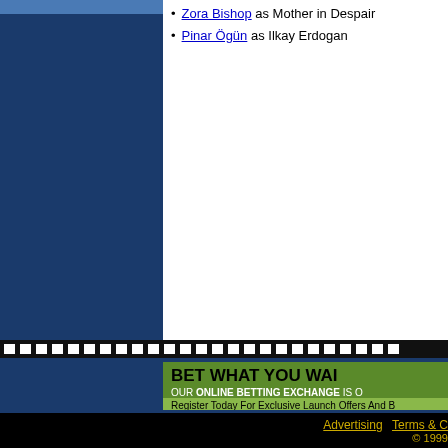Zora Bishop as Mother in Despair
Pinar Ögün as Ilkay Erdogan
[Figure (other): Dark blue sidebar navigation panel]
[Figure (other): Film strip divider bar with white rectangular holes on black background]
[Figure (other): Green online betting exchange advertisement banner: BET WHAT YOU WANT, OUR ONLINE BETTING EXCHANGE IS C..., Register Today For Exclusive Launch Offers And B...]
Advertising   Terms & C...   © 1999